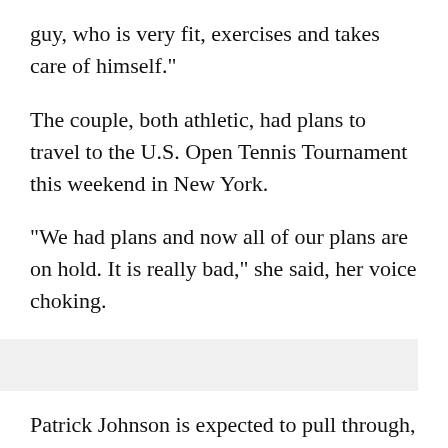guy, who is very fit, exercises and takes care of himself."
The couple, both athletic, had plans to travel to the U.S. Open Tennis Tournament this weekend in New York.
"We had plans and now all of our plans are on hold. It is really bad," she said, her voice choking.
Patrick Johnson is expected to pull through, but he faces a long and arduous recovery.
Anyone who can help in the investigation of the hit and run is asked to call CrimeStoppers at 305-471-